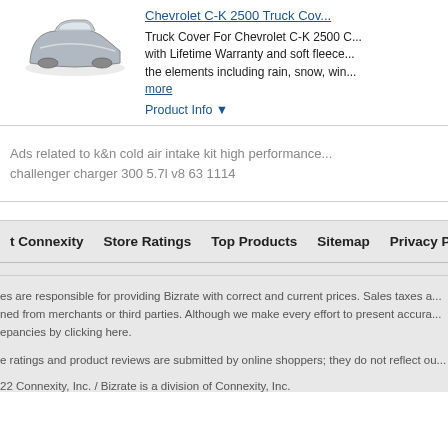Chevrolet C-K 2500 Truck Cov...
Truck Cover For Chevrolet C-K 2500 C... with Lifetime Warranty and soft fleece... the elements including rain, snow, win... more
Product Info ▼
Ads related to k&n cold air intake kit high performance... challenger charger 300 5.7l v8 63 1114
t Connexity   Store Ratings   Top Products   Sitemap   Privacy Policy   User Agreement
es are responsible for providing Bizrate with correct and current prices. Sales taxes a... ned from merchants or third parties. Although we make every effort to present accura... epancies by clicking here.
e ratings and product reviews are submitted by online shoppers; they do not reflect ou...
22 Connexity, Inc. / Bizrate is a division of Connexity, Inc.